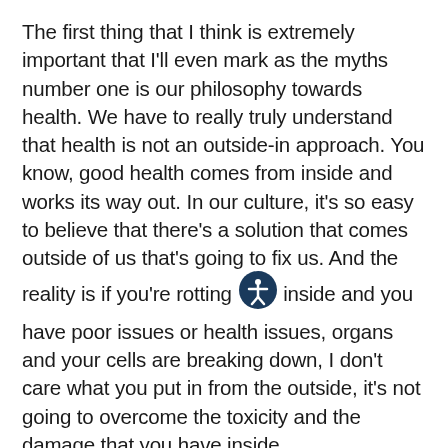The first thing that I think is extremely important that I'll even mark as the myths number one is our philosophy towards health. We have to really truly understand that health is not an outside-in approach. You know, good health comes from inside and works its way out. In our culture, it's so easy to believe that there's a solution that comes outside of us that's going to fix us. And the reality is if you're rotting inside and you have poor issues or health issues, organs and your cells are breaking down, I don't care what you put in from the outside, it's not going to overcome the toxicity and the damage that you have inside.
So number one, we have to look at how we're looking at our health. How are we looking at our body? How are we approaching our overall philosophy of health?